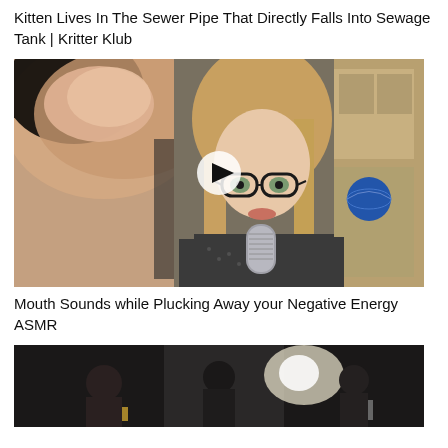Kitten Lives In The Sewer Pipe That Directly Falls Into Sewage Tank | Kritter Klub
[Figure (screenshot): Video thumbnail showing a young woman with glasses and long blonde hair speaking into a microphone, with a hand in the foreground and a play button overlay.]
Mouth Sounds while Plucking Away your Negative Energy ASMR
[Figure (screenshot): Partial video thumbnail showing people in a dark indoor setting with a bright light in the background.]